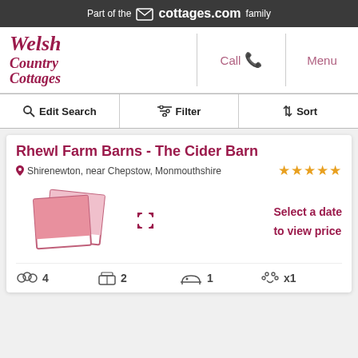Part of the cottages.com family
[Figure (logo): Welsh Country Cottages logo in dark red italic script]
Call
Menu
Edit Search
Filter
Sort
Rhewl Farm Barns - The Cider Barn
Shirenewton, near Chepstow, Monmouthshire
[Figure (illustration): Polaroid-style photo placeholder icon in pink/red]
Select a date

to view price
4 guests, 2 bedrooms, 1 bathroom, x1 pets allowed